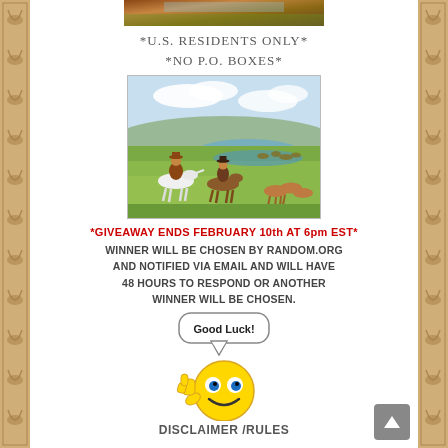[Figure (photo): Partial top image - western/nature scene strip]
*U.S. RESIDENTS ONLY*
*NO P.O. BOXES*
[Figure (illustration): Western painting showing cowboys on horseback herding cattle through a green prairie landscape with a river in the background]
*GIVEAWAY ENDS FEBRUARY 10th AT 6pm EST*
WINNER WILL BE CHOSEN BY RANDOM.ORG AND NOTIFIED VIA EMAIL AND WILL HAVE 48 HOURS TO RESPOND OR ANOTHER WINNER WILL BE CHOSEN.
[Figure (illustration): Good Luck speech bubble with a yellow smiley face emoji giving thumbs up]
DISCLAIMER /RULES